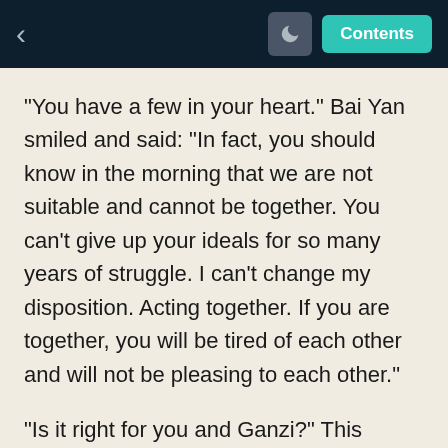< Contents
"You have a few in your heart." Bai Yan smiled and said: "In fact, you should know in the morning that we are not suitable and cannot be together. You can't give up your ideals for so many years of struggle. I can't change my disposition. Acting together. If you are together, you will be tired of each other and will not be pleasing to each other."
"Is it right for you and Ganzi?" This sentence has been hidden in Yang Xin's heart for a long time. He consciously said that this is very unsatisfactory, so he has always resisted it.